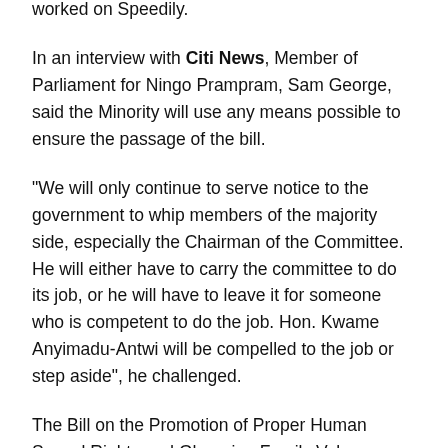worked on Speedily.
In an interview with Citi News, Member of Parliament for Ningo Prampram, Sam George, said the Minority will use any means possible to ensure the passage of the bill.
“We will only continue to serve notice to the government to whip members of the majority side, especially the Chairman of the Committee. He will either have to carry the committee to do its job, or he will have to leave it for someone who is competent to do the job. Hon. Kwame Anyimadu-Antwi will be compelled to the job or step aside”, he challenged.
The Bill on the Promotion of Proper Human Sexual Rights and Ghanaian Family Values, was presented to Speaker, Alban Bagbin on Tuesday, June 29, 2021.
“As far as the constitution is concerned, when you introduce a